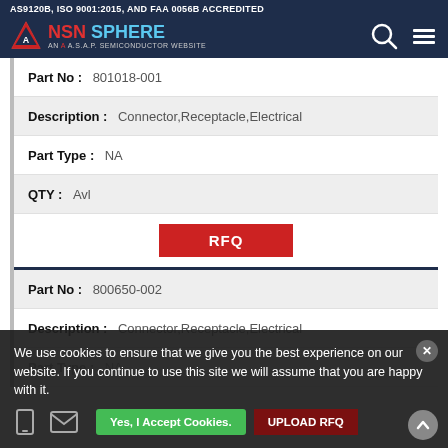AS9120B, ISO 9001:2015, AND FAA 0056B ACCREDITED — NSN SPHERE AN A.S.A.P. SEMICONDUCTOR WEBSITE
| Field | Value |
| --- | --- |
| Part No | 801018-001 |
| Description | Connector,Receptacle,Electrical |
| Part Type | NA |
| QTY | Avl |
|  | RFQ |
| Part No | 800650-002 |
| Description | Connector,Receptacle,Electrical |
| Part Type | NA |
We use cookies to ensure that we give you the best experience on our website. If you continue to use this site we will assume that you are happy with it.
Yes, I Accept Cookies.   UPLOAD RFQ